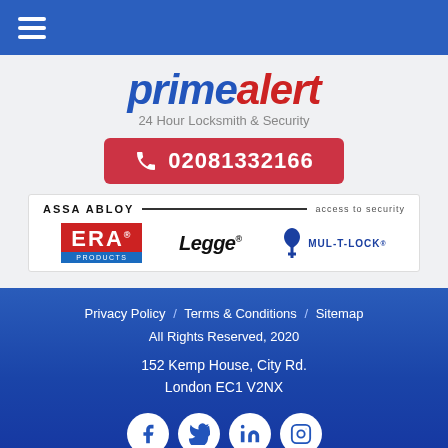Prime Alert - 24 Hour Locksmith & Security
primealert - 24 Hour Locksmith & Security
02081332166
[Figure (logo): Brand logos: ASSA ABLOY, ERA Products, Legge, Mul-T-Lock]
Privacy Policy / Terms & Conditions / Sitemap | All Rights Reserved, 2020 | 152 Kemp House, City Rd. London EC1 V2NX